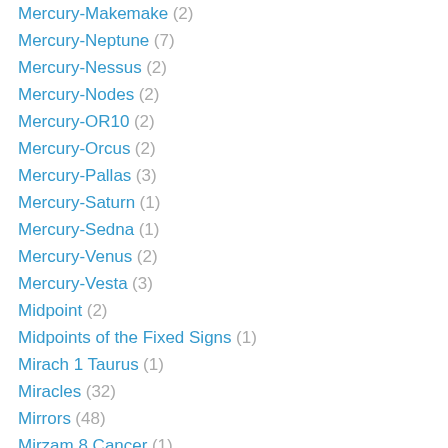Mercury-Makemake (2)
Mercury-Neptune (7)
Mercury-Nessus (2)
Mercury-Nodes (2)
Mercury-OR10 (2)
Mercury-Orcus (2)
Mercury-Pallas (3)
Mercury-Saturn (1)
Mercury-Sedna (1)
Mercury-Venus (2)
Mercury-Vesta (3)
Midpoint (2)
Midpoints of the Fixed Signs (1)
Mirach 1 Taurus (1)
Miracles (32)
Mirrors (48)
Mirzam 8 Cancer (1)
Mission (31)
Mjolnir (32)